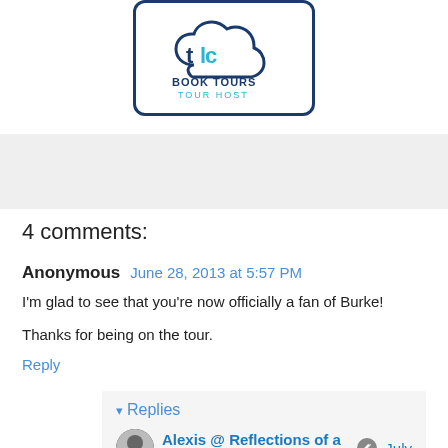[Figure (logo): TLC Book Tours Tour Host logo — cloud shape with 'tlc' text inside, 'BOOK TOURS' in dark blue, 'TOUR HOST' in teal/cyan, all inside a rounded rectangle border]
4 comments:
Anonymous June 28, 2013 at 5:57 PM
I'm glad to see that you're now officially a fan of Burke!
Thanks for being on the tour.
Reply
Replies
Alexis @ Reflections of a Bookaholic July